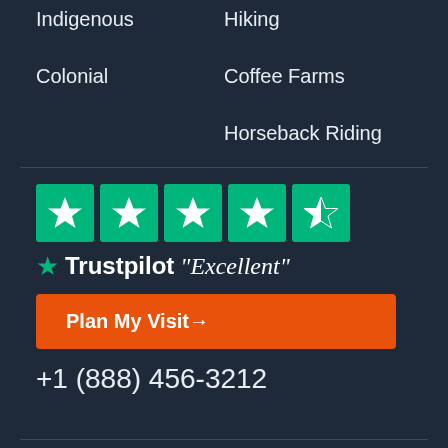Indigenous
Hiking
Colonial
Coffee Farms
Horseback Riding
[Figure (logo): Five green Trustpilot star rating boxes with white stars]
★ Trustpilot "Excellent"
Plan My Visit→
+1 (888) 456-3212